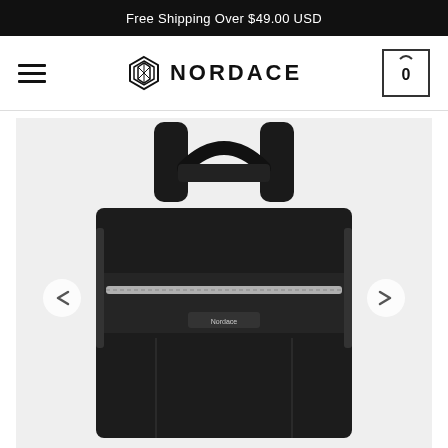Free Shipping Over $49.00 USD
[Figure (logo): Nordace brand logo with hexagonal icon and NORDACE text, hamburger menu icon on left, shopping cart with 0 on right]
[Figure (photo): Black Nordace backpack product photo on light gray background, showing front view with top carry handle, shoulder straps, front zipper pocket with silver zipper and Nordace branding label, navigation arrows on left and right sides]